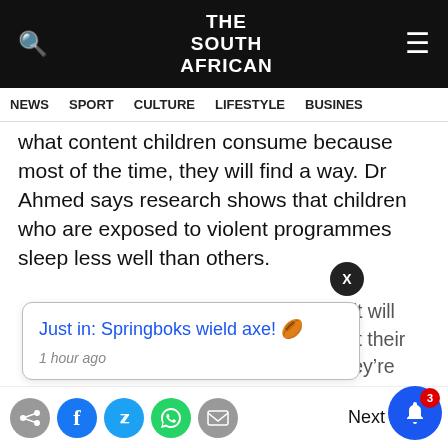THE SOUTH AFRICAN
NEWS  SPORT  CULTURE  LIFESTYLE  BUSINESS
what content children consume because most of the time, they will find a way. Dr Ahmed says research shows that children who are exposed to violent programmes sleep less well than others.
“It does affect children’s sleep and it will impact everything else, it will impact their performance at school, how well they’re feeling, their interaction with their peers. So we do have research that shows that but it’s not the only thing. If you’re watching something violent it doesn’t necessarily mean that you’ll go out and be violent.”
Just in: Springboks wield axe! 🎓
1 hour ago